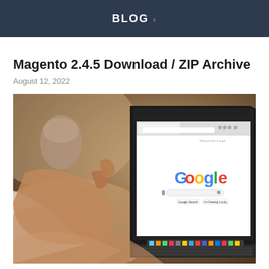BLOG
Magento 2.4.5 Download / ZIP Archive
August 12, 2022
[Figure (photo): Person viewed from behind holding a coffee cup, looking at a laptop screen showing the Google homepage]